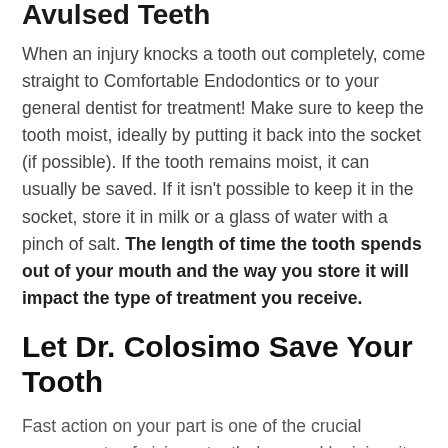Avulsed Teeth
When an injury knocks a tooth out completely, come straight to Comfortable Endodontics or to your general dentist for treatment! Make sure to keep the tooth moist, ideally by putting it back into the socket (if possible). If the tooth remains moist, it can usually be saved. If it isn't possible to keep it in the socket, store it in milk or a glass of water with a pinch of salt. The length of time the tooth spends out of your mouth and the way you store it will impact the type of treatment you receive.
Let Dr. Colosimo Save Your Tooth
Fast action on your part is one of the crucial components of giving a tooth damaged by injury its best chance, and the experience of Dr. Colosimo is the other. If you have any questions about what to do in